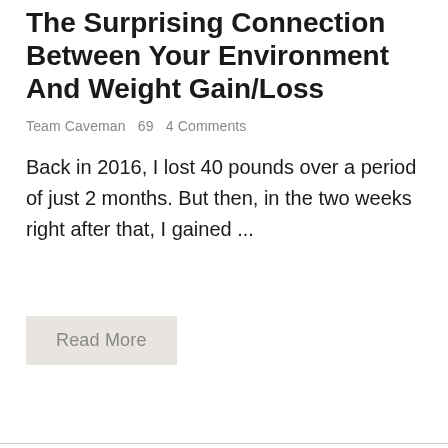The Surprising Connection Between Your Environment And Weight Gain/Loss
Team Caveman  69  4 Comments
Back in 2016, I lost 40 pounds over a period of just 2 months. But then, in the two weeks right after that, I gained ...
Read More